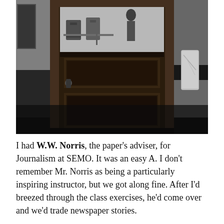[Figure (photo): Black and white photograph of a dark wooden door with a glass window panel at the top, through which chairs and a person can be seen in a room. The scene is dimly lit with dark tones. A figure in white is partially visible on the right side.]
I had W.W. Norris, the paper's adviser, for Journalism at SEMO. It was an easy A. I don't remember Mr. Norris as being a particularly inspiring instructor, but we got along fine. After I'd breezed through the class exercises, he'd come over and we'd trade newspaper stories.